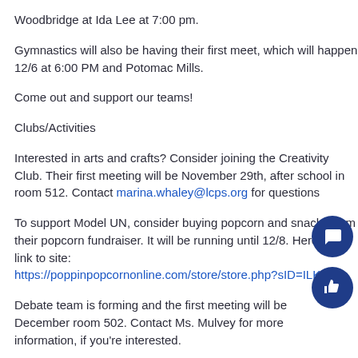Woodbridge at Ida Lee at 7:00 pm.
Gymnastics will also be having their first meet, which will happen 12/6 at 6:00 PM and Potomac Mills.
Come out and support our teams!
Clubs/Activities
Interested in arts and crafts? Consider joining the Creativity Club. Their first meeting will be November 29th, after school in room 512. Contact marina.whaley@lcps.org for questions
To support Model UN, consider buying popcorn and snacks from their popcorn fundraiser. It will be running until 12/8. Here is the link to site: https://poppinpopcornonline.com/store/store.php?sID=ILKQRI
Debate team is forming and the first meeting will be December room 502. Contact Ms. Mulvey for more information, if you're interested.
Recent and Upcoming Events